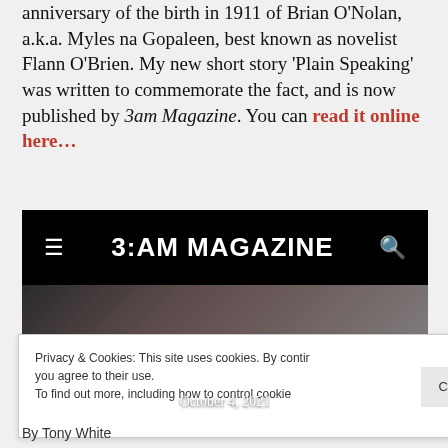anniversary of the birth in 1911 of Brian O'Nolan, a.k.a. Myles na Gopaleen, best known as novelist Flann O'Brien. My new short story 'Plain Speaking' was written to commemorate the fact, and is now published by 3am Magazine. You can read it online here…
[Figure (screenshot): Screenshot of 3:AM MAGAZINE website header with hamburger menu icon and search icon on black background, below which is a dark photo of a man's face with the date 'October 4, 2021' overlaid at the bottom.]
Privacy & Cookies: This site uses cookies. By continuing to use this website, you agree to their use. To find out more, including how to control cookies, see here: Close and accept
By Tony White